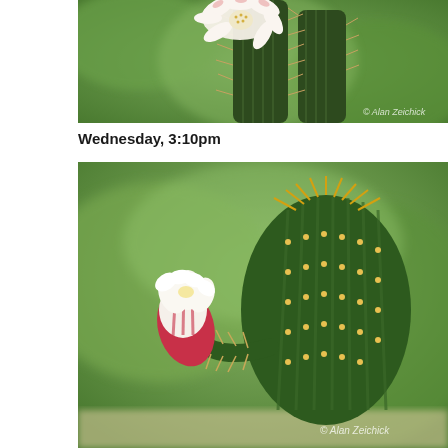[Figure (photo): Close-up photograph of a blooming white cactus flower with pink-tipped petals on a tall dark green cactus with spines, blurred green background. Watermark reads '© Alan Zeichick' in bottom right corner.]
Wednesday, 3:10pm
[Figure (photo): Close-up photograph of a white and red striped cactus flower bud partially open, growing from the side of a round green cactus with yellow spines, blurred green background. Watermark reads '© Alan Zeichick' in bottom right corner.]